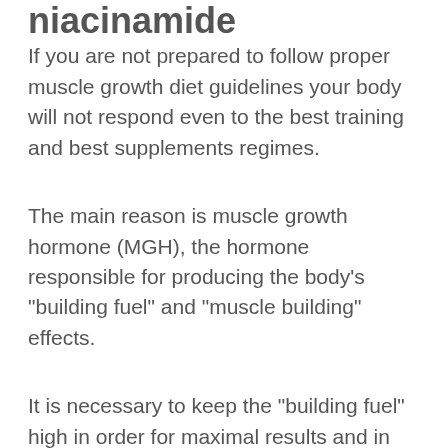niacinamide
If you are not prepared to follow proper muscle growth diet guidelines your body will not respond even to the best training and best supplements regimes.
The main reason is muscle growth hormone (MGH), the hormone responsible for producing the body's "building fuel" and "muscle building" effects.
It is necessary to keep the "building fuel" high in order for maximal results and in order for the body's metabolism to be stimulated. It has been shown that higher doses of MGH promote more muscle growth and greater gains in terms of body weight, muscle mass, and size. MGH is the main factor which supports both your total energy expenditure